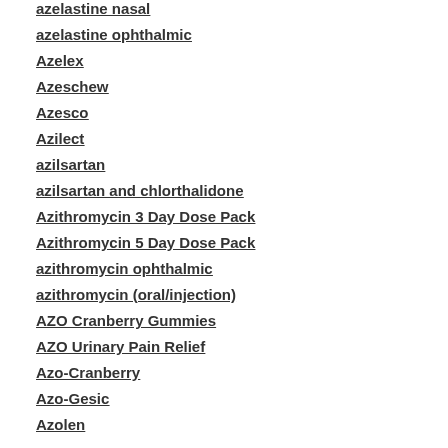azelastine nasal
azelastine ophthalmic
Azelex
Azeschew
Azesco
Azilect
azilsartan
azilsartan and chlorthalidone
Azithromycin 3 Day Dose Pack
Azithromycin 5 Day Dose Pack
azithromycin ophthalmic
azithromycin (oral/injection)
AZO Cranberry Gummies
AZO Urinary Pain Relief
Azo-Cranberry
Azo-Gesic
Azolen